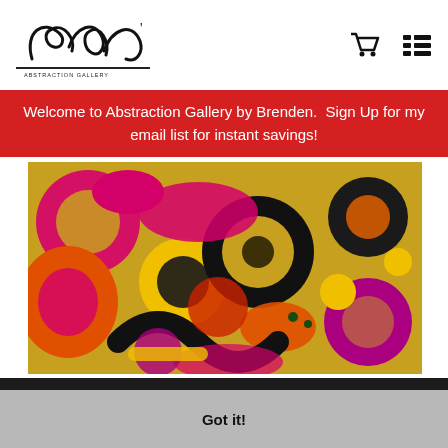Abstraction Gallery by Brenden - logo and navigation icons
Welcome to Abstraction Gallery by Brenden.  Sign Up for my email list for instant savings!
[Figure (photo): Abstract painting with bold circles and organic shapes in magenta, yellow, orange, black and purple on a textured canvas background]
This website uses cookies to ensure you get the best experience on our website.  Learn More
Got it!